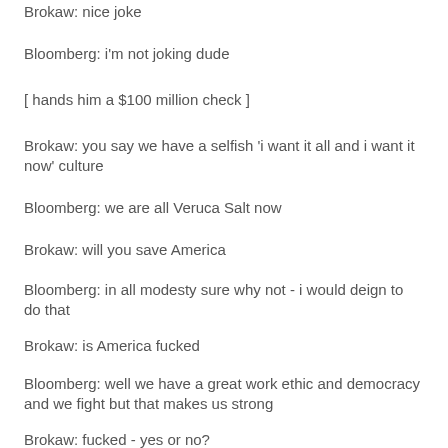Brokaw: nice joke
Bloomberg: i'm not joking dude
[ hands him a $100 million check ]
Brokaw: you say we have a selfish 'i want it all and i want it now' culture
Bloomberg: we are all Veruca Salt now
Brokaw: will you save America
Bloomberg: in all modesty sure why not - i would deign to do that
Brokaw: is America fucked
Bloomberg: well we have a great work ethic and democracy and we fight but that makes us strong
Brokaw: fucked - yes or no?